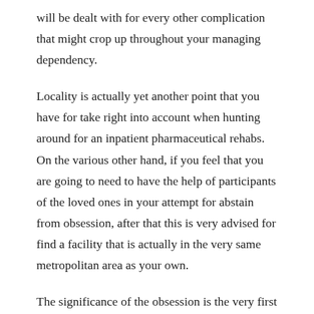will be dealt with for every other complication that might crop up throughout your managing dependency.
Locality is actually yet another point that you have for take right into account when hunting around for an inpatient pharmaceutical rehabs. On the various other hand, if you feel that you are going to need to have the help of participants of the loved ones in your attempt for abstain from obsession, after that this is very advised for find a facility that is actually in the very same metropolitan area as your own.
The significance of the obsession is the very first issue that will definitely establish whether you need to have an inpatient medicine rehabilitations center or certainly not. Enough oversight as well as solution by staff of inpatient pharmaceutical rehabilitations center will definitely ensure independence from dependency.